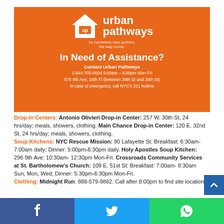[Figure (logo): Urban Pathways orange banner with house logo, brand name, tagline, and contact info for In Need of Assistance]
Drop-in Centers: Antonio Olivieri Drop-in Center: 257 W. 30th St, 24 hrs/day; meals, showers, clothing. Main Chance Drop-in Center: 120 E. 32nd St, 24 hrs/day; meals, showers, clothing. Soup Kitchens: NYC Rescue Mission: 90 Lafayette St: Breakfast: 6:30am-7:00am daily; Dinner: 5:00pm-6:30pm daily. Holy Apostles Soup Kitchen: 296 9th Ave: 10:30am-12:30pm Mon-Fri. Crossroads Community Services at St. Bartholomew's Church: 109 E. 51st St: Breakfast: 7:00am-8:30am Sun, Mon, Wed; Dinner: 5:30pm-6:30pm Mon-Fri. Clothing: Midnight Run: 888-579-9862. Call after 8:00pm to find site location.
[Figure (infographic): Social media share buttons: Facebook, Twitter, WhatsApp]